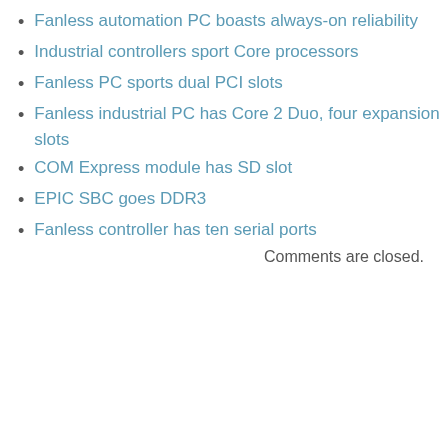Fanless automation PC boasts always-on reliability
Industrial controllers sport Core processors
Fanless PC sports dual PCI slots
Fanless industrial PC has Core 2 Duo, four expansion slots
COM Express module has SD slot
EPIC SBC goes DDR3
Fanless controller has ten serial ports
Comments are closed.